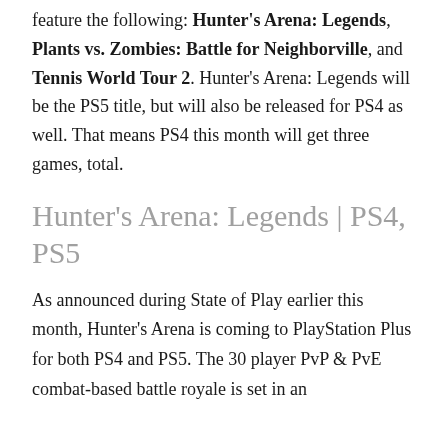feature the following: Hunter's Arena: Legends, Plants vs. Zombies: Battle for Neighborville, and Tennis World Tour 2. Hunter's Arena: Legends will be the PS5 title, but will also be released for PS4 as well. That means PS4 this month will get three games, total.
Hunter's Arena: Legends | PS4, PS5
As announced during State of Play earlier this month, Hunter's Arena is coming to PlayStation Plus for both PS4 and PS5. The 30 player PvP & PvE combat-based battle royale is set in an